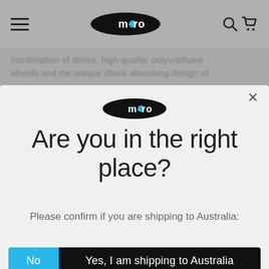m-cro (logo) [hamburger menu] [search] [cart]
combination of dense, high quality, polyurethane wheels and the unique shock absorbing design of
[Figure (logo): m-cro brand logo: black oval with white text 'm-cro' with blue dot on the 'o']
Are you in the right place?
Please confirm if you are shipping to Australia:
No
Yes, I am shipping to Australia